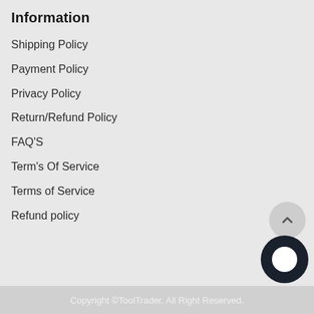Information
Shipping Policy
Payment Policy
Privacy Policy
Return/Refund Policy
FAQ'S
Term's Of Service
Terms of Service
Refund policy
Copyright ©ToolTrader. All Right Reserved.